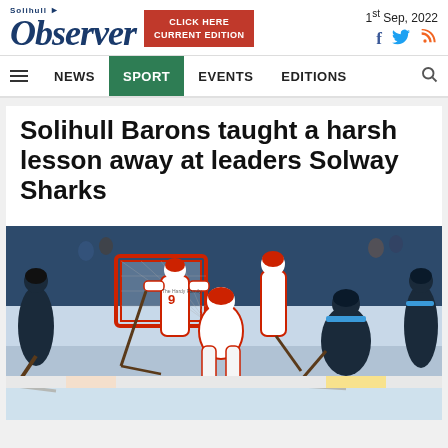Solihull Observer — 1st Sep, 2022
NEWS  SPORT  EVENTS  EDITIONS
Solihull Barons taught a harsh lesson away at leaders Solway Sharks
[Figure (photo): Ice hockey action photo showing players in red/white and dark blue uniforms competing near the goal, with a goaltender on the ice.]